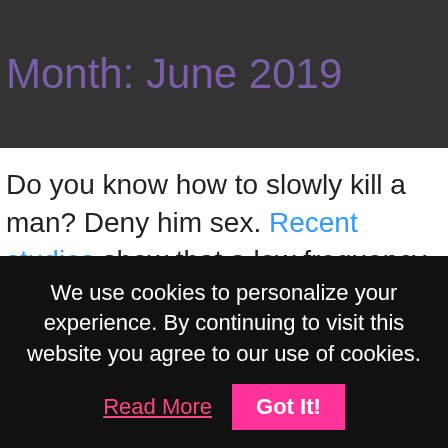Month: June 2019
Do you know how to slowly kill a man? Deny him sex. Recent studies show that a low frequency of sexual intercourse leads to a high rate of cardiovascular disease, resulting in higher mortality rates amongst men.
Sex, making love, call it what you will. The
We use cookies to personalize your experience. By continuing to visit this website you agree to our use of cookies. Read More  Got It!